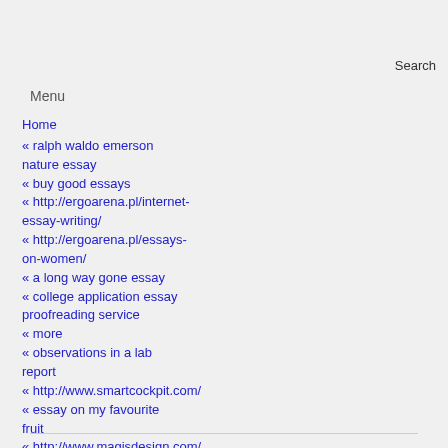Search
Menu
Home
« ralph waldo emerson nature essay
« buy good essays
« http://ergoarena.pl/internet-essay-writing/
« http://ergoarena.pl/essays-on-women/
« a long way gone essay
« college application essay proofreading service
« more
« observations in a lab report
« http://www.smartcockpit.com/
« essay on my favourite fruit
« http://www.magisdesign.com/